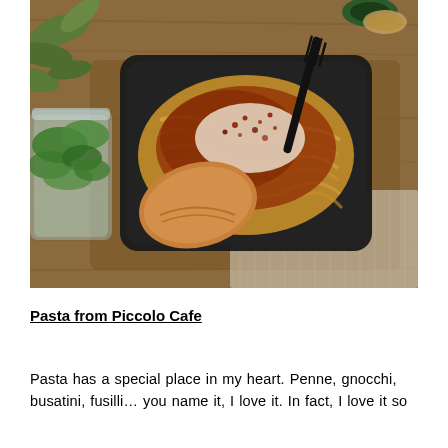[Figure (photo): Overhead photo of a black takeout container filled with tagliatelle pasta topped with meat sauce, grated cheese, and spices, accompanied by a piece of focaccia bread. A clear plastic cup with green salad sits to the left. A black fork rests on the pasta. The container sits on a wooden board with a woven textile visible in the background. A green potted plant is visible in the upper left corner.]
Pasta from Piccolo Cafe
Pasta has a special place in my heart. Penne, gnocchi, busatini, fusilli… you name it, I love it. In fact, I love it so